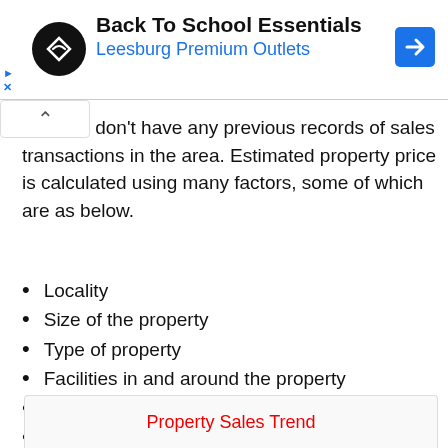[Figure (other): Advertisement banner for Back To School Essentials at Leesburg Premium Outlets with logo and navigation arrow icon]
day. We don't have any previous records of sales transactions in the area. Estimated property price is calculated using many factors, some of which are as below.
Locality
Size of the property
Type of property
Facilities in and around the property
Distance from road
Parking
Neighborhood
Property Sales Trend